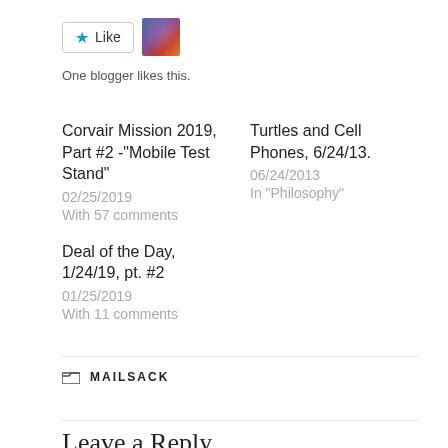[Figure (other): Like button with star icon and avatar thumbnail. Text 'One blogger likes this.' below.]
One blogger likes this.
Corvair Mission 2019, Part #2 -"Mobile Test Stand"
02/25/2019
With 57 comments
Turtles and Cell Phones, 6/24/13.
06/24/2013
In "Philosophy"
Deal of the Day, 1/24/19, pt. #2
01/25/2019
With 11 comments
MAILSACK
Leave a Reply